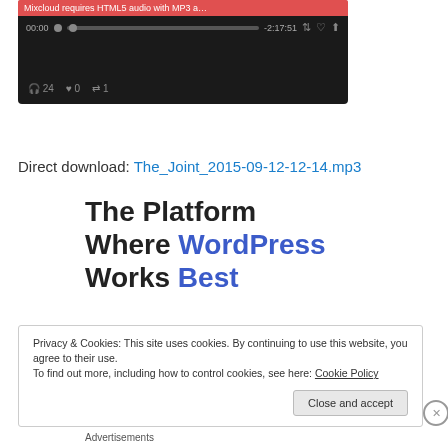[Figure (screenshot): Mixcloud audio player widget with dark background, showing error bar 'Mixcloud requires HTML5 audio with MP3 a...', time display '00:00' and '-2:17:51', progress bar, playback controls, and stats: headphones 24, heart 0, repost 1]
Direct download: The_Joint_2015-09-12-12-14.mp3
The Platform Where WordPress Works Best
Privacy & Cookies: This site uses cookies. By continuing to use this website, you agree to their use.
To find out more, including how to control cookies, see here: Cookie Policy
Close and accept
Advertisements